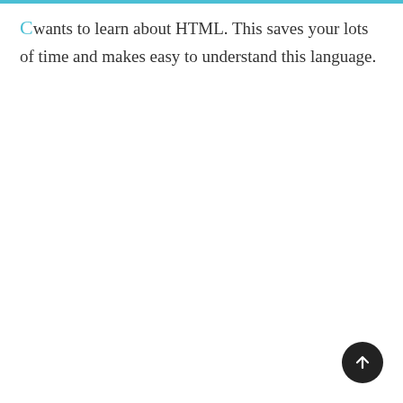wants to learn about HTML. This saves your lots of time and makes easy to understand this language.